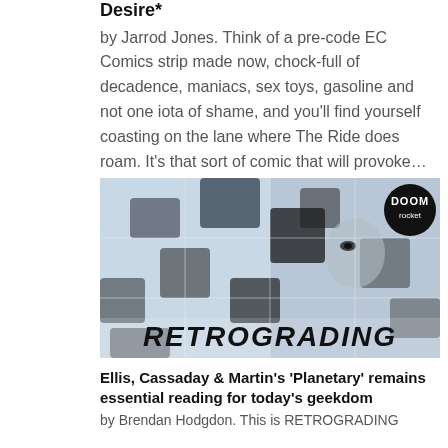Desire*
by Jarrod Jones. Think of a pre-code EC Comics strip made now, chock-full of decadence, maniacs, sex toys, gasoline and not one iota of shame, and you’ll find yourself coasting on the lane where The Ride does roam. It’s that sort of comic that will provoke…
[Figure (photo): A stylized image showing a jigsaw puzzle effect over a person's face in blue-grey tones, with the text 'RETROGRADING' in bold metallic letters at the bottom. A black circle with 'DOOM rocket' text appears in the top right corner.]
Ellis, Cassaday & Martin’s ‘Planetary’ remains essential reading for today’s geekdom
by Brendan Hodgdon. This is RETROGRADING